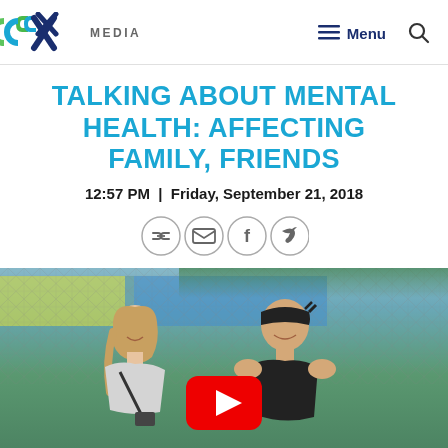[Figure (logo): CCX Media logo with green and blue stylized letters CCX and the word MEDIA in grey uppercase]
TALKING ABOUT MENTAL HEALTH: AFFECTING FAMILY, FRIENDS
12:57 PM | Friday, September 21, 2018
[Figure (infographic): Social share icons in circles: link, email, Facebook, Twitter]
[Figure (photo): Two people (a woman with long hair and a man wearing a black bandana) smiling in front of a chain-link fence near a sports court. A YouTube play button is overlaid on the image indicating a video.]